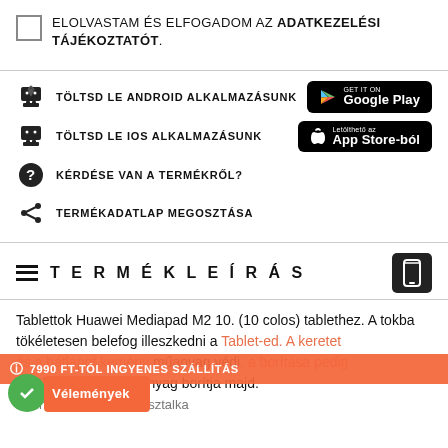ELOLVASTAM ÉS ELFOGADOM AZ ADATKEZELÉSI TÁJÉKOZTATÓT.
TÖLTSD LE ANDROID ALKALMAZÁSUNK
TÖLTSD LE IOS ALKALMAZÁSUNK
KÉRDÉSE VAN A TERMÉKRŐL?
TERMÉKADATLAP MEGOSZTÁSA
TERMÉKLEÍRÁS
Tablettok Huawei Mediapad M2 10. (10 colos) tablethez. A tokba tökéletesen belefog illeszkedni a Tablet-ed. A keretet és a hátlapot kemény műanyag védi, a borítása pedig belül puha selymes anyag borítja majd.
7990 FT-TÓL INGYENES SZÁLLÍTÁS
Vélemények